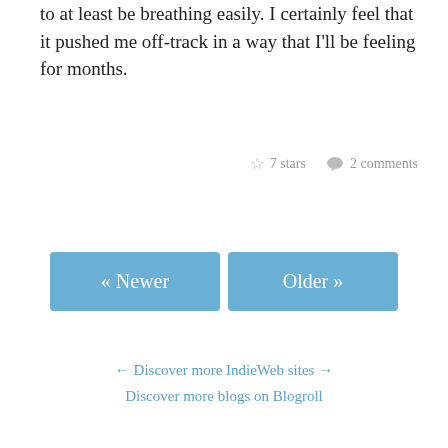to at least be breathing easily. I certainly feel that it pushed me off-track in a way that I'll be feeling for months.
☆ 7 stars  💬 2 comments
« Newer
Older »
← Discover more IndieWeb sites → Discover more blogs on Blogroll